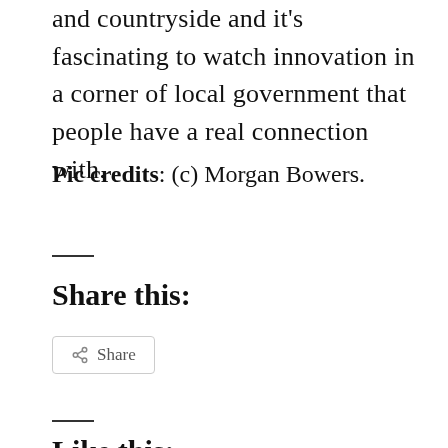and countryside and it's fascinating to watch innovation in a corner of local government that people have a real connection with.
Pic credits: (c) Morgan Bowers.
Share this:
Like this: